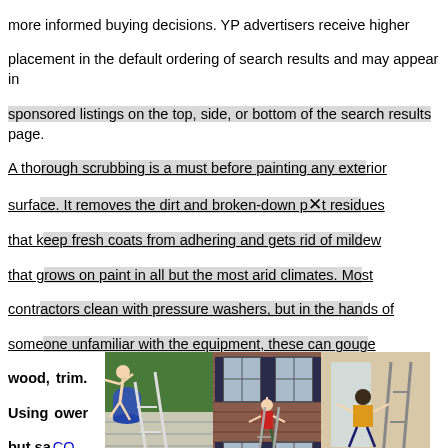more informed buying decisions. YP advertisers receive higher placement in the default ordering of search results and may appear in sponsored listings on the top, side, or bottom of the search results page.
A thorough scrubbing is a must before painting any exterior surface. It removes the dirt and broken-down paint residues that keep fresh coats from adhering and gets rid of mildew that grows on paint in all but the most arid climates. Most contractors clean with pressure washers, but in the hands of someone unfamiliar with the equipment, these can gouge wood, siding, and trim. Using lower pressure but safer ... Expect ... per square ... for the ... materials ... innovative ... siding ... degrade ... have nearly ... per square foot by painting rather than replacing. Before adding a new coat to vinyl siding,
[Figure (photo): Three photos showing people performing acrobatic/dangerous acts on ladders near houses: person flying off a ladder near siding, person hanging from upper floor window, person falling backward off ladder indoors.]
When choosing the right painting contractor for your home, we know that you want reliable, friendly, and efficient painting contractors who will treat your home as if it's their